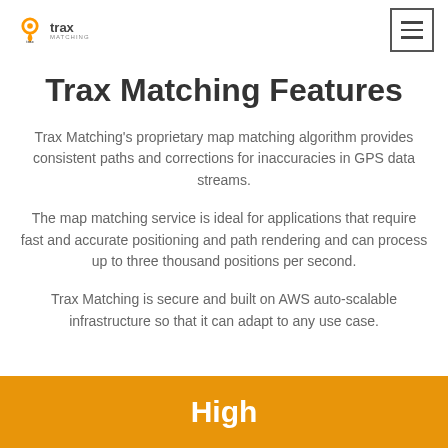trax MATCHING [logo] [hamburger menu]
Trax Matching Features
Trax Matching's proprietary map matching algorithm provides consistent paths and corrections for inaccuracies in GPS data streams.
The map matching service is ideal for applications that require fast and accurate positioning and path rendering and can process up to three thousand positions per second.
Trax Matching is secure and built on AWS auto-scalable infrastructure so that it can adapt to any use case.
High